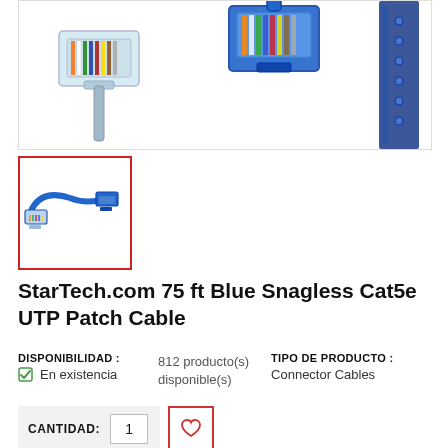[Figure (photo): Close-up photo of two RJ45 Ethernet cable connectors — one transparent/clear on the left, one blue on the right, showing internal wiring]
[Figure (photo): Thumbnail photo of a blue Cat5e UTP patch cable with two RJ45 connectors visible, on white background]
StarTech.com 75 ft Blue Snagless Cat5e UTP Patch Cable
DISPONIBILIDAD : En existencia   812 producto(s) disponible(s)   TIPO DE PRODUCTO : Connector Cables
CANTIDAD: 1